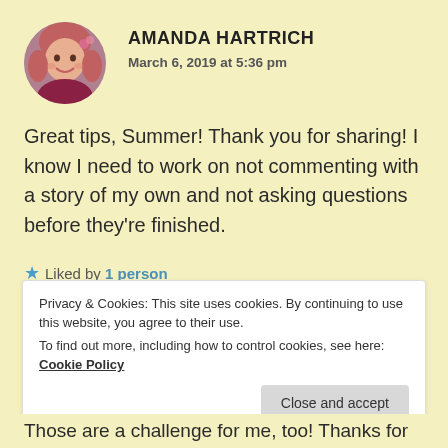AMANDA HARTRICH
March 6, 2019 at 5:36 pm
Great tips, Summer! Thank you for sharing! I know I need to work on not commenting with a story of my own and not asking questions before they're finished.
★ Liked by 1 person
Privacy & Cookies: This site uses cookies. By continuing to use this website, you agree to their use.
To find out more, including how to control cookies, see here: Cookie Policy
Close and accept
Those are a challenge for me, too! Thanks for